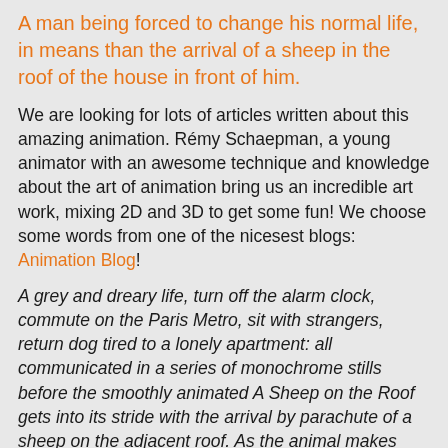A man being forced to change his normal life, in means than the arrival of a sheep in the roof of the house in front of him.
We are looking for lots of articles written about this amazing animation. Rémy Schaepman, a young animator with an awesome technique and knowledge about the art of animation bring us an incredible art work, mixing 2D and 3D to get some fun! We choose some words from one of the nicesest blogs: Animation Blog!
A grey and dreary life, turn off the alarm clock, commute on the Paris Metro, sit with strangers, return dog tired to a lonely apartment: all communicated in a series of monochrome stills before the smoothly animated A Sheep on the Roof gets into its stride with the arrival by parachute of a sheep on the adjacent roof. As the animal makes itself ever more at home, the bemused commuter's life becomes increasingly whimsical. Gauche fellow traveller morphs to giant mother hen and brood, colourful posters appear on the Metro walls and it's party time on the journey. A life transformed forever? Rémy Schaepman made this surreal graduation film whilst at the Institute Saint-Geneviève. There's something of the